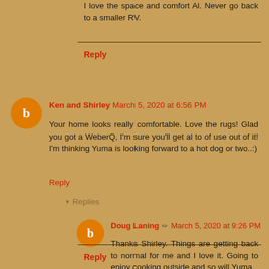I love the space and comfort Al. Never go back to a smaller RV.
Reply
Ken and Shirley March 5, 2020 at 6:56 PM
Your home looks really comfortable. Love the rugs! Glad you got a WeberQ, I'm sure you'll get al to of use out of it! I'm thinking Yuma is looking forward to a hot dog or two..:)
Reply
Replies
Doug Laning March 5, 2020 at 9:26 PM
Thanks Shirley. Things are getting back to normal for me and I love it. Going to enjoy cooking outside and so will Yuma.
Reply